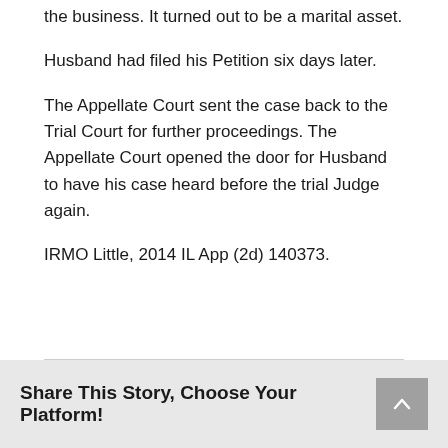the business. It turned out to be a marital asset.
Husband had filed his Petition six days later.
The Appellate Court sent the case back to the Trial Court for further proceedings. The Appellate Court opened the door for Husband to have his case heard before the trial Judge again.
IRMO Little, 2014 IL App (2d) 140373.
Share This Story, Choose Your Platform!